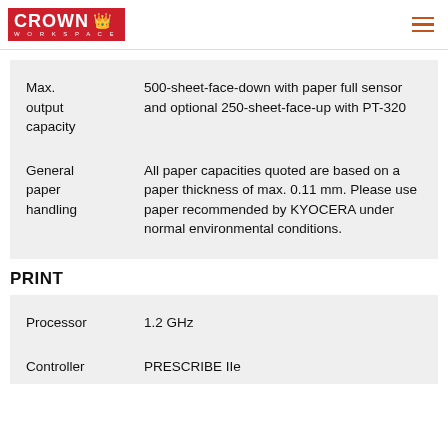Crown Workspace logo and hamburger menu
| Spec | Value |
| --- | --- |
| Max. output capacity | 500-sheet-face-down with paper full sensor and optional 250-sheet-face-up with PT-320 |
| General paper handling | All paper capacities quoted are based on a paper thickness of max. 0.11 mm. Please use paper recommended by KYOCERA under normal environmental conditions. |
PRINT
| Spec | Value |
| --- | --- |
| Processor | 1.2 GHz |
| Controller | PRESCRIBE IIe |